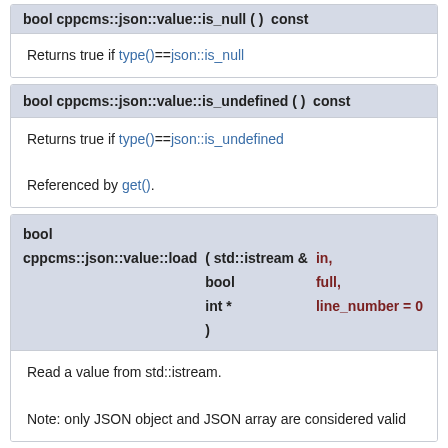bool cppcms::json::value::is_null ( ) const [partial/truncated at top]
Returns true if type()==json::is_null
bool cppcms::json::value::is_undefined ( ) const
Returns true if type()==json::is_undefined

Referenced by get().
bool cppcms::json::value::load ( std::istream & in, bool full, int * line_number = 0 )
Read a value from std::istream.

Note: only JSON object and JSON array are considered valid